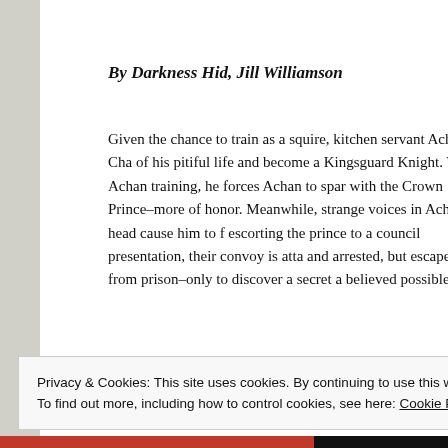By Darkness Hid, Jill Williamson
Given the chance to train as a squire, kitchen servant Achan Cha of his pitiful life and become a Kingsguard Knight. When Achan training, he forces Achan to spar with the Crown Prince–more of honor. Meanwhile, strange voices in Achan's head cause him to f escorting the prince to a council presentation, their convoy is atta and arrested, but escapes from prison–only to discover a secret a believed possible.
Privacy & Cookies: This site uses cookies. By continuing to use this website, you agree to their use.
To find out more, including how to control cookies, see here: Cookie Policy
Close and accept